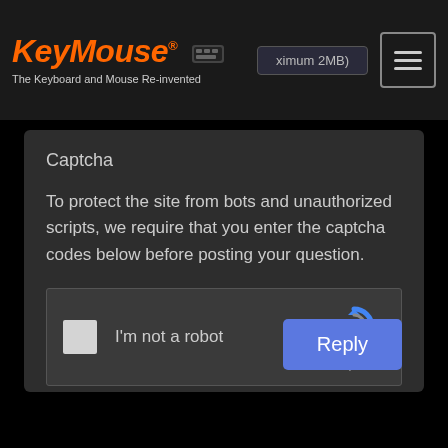KeyMouse® — The Keyboard and Mouse Re-invented
Captcha
To protect the site from bots and unauthorized scripts, we require that you enter the captcha codes below before posting your question.
[Figure (screenshot): reCAPTCHA widget with checkbox labeled 'I'm not a robot' and reCAPTCHA logo with Privacy and Terms links]
Reply